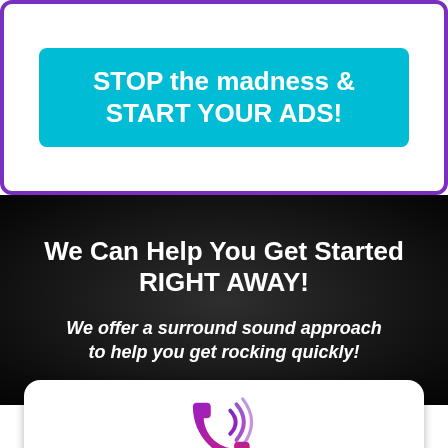STOP the madness & START YOUR ADS!
We Can Help You Get Started RIGHT AWAY!
We offer a surround sound approach to help you get rocking quickly!
[Figure (illustration): Phone/call icon in purple and magenta gradient on white rounded card]